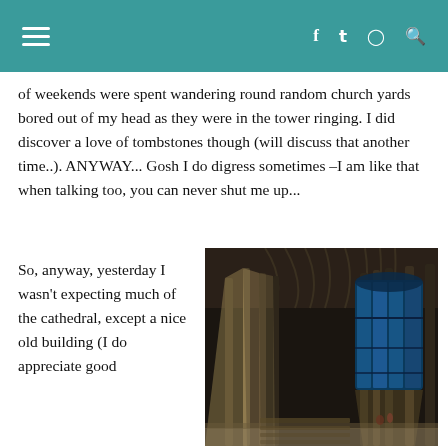≡  f  𝕿  ◎  🔍
of weekends were spent wandering round random church yards bored out of my head as they were in the tower ringing. I did discover a love of tombstones though (will discuss that another time..). ANYWAY... Gosh I do digress sometimes –I am like that when talking too, you can never shut me up...
So, anyway, yesterday I wasn't expecting much of the cathedral, except a nice old building (I do appreciate good
[Figure (photo): Interior of a cathedral showing tall Gothic stone columns, vaulted ceiling, rows of chairs, and a large stained glass window at the far end with light streaming in.]